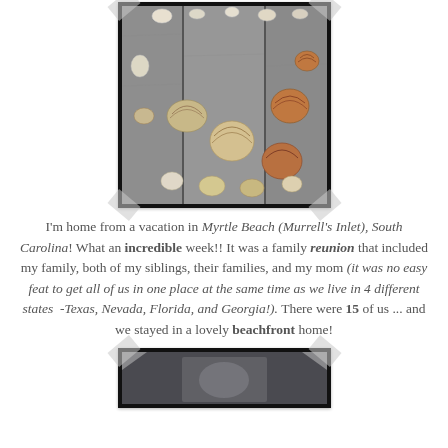[Figure (photo): Photograph of various seashells arranged on grey wooden planks, mounted with tape at the corners]
I'm home from a vacation in Myrtle Beach (Murrell's Inlet), South Carolina! What an incredible week!! It was a family reunion that included my family, both of my siblings, their families, and my mom (it was no easy feat to get all of us in one place at the same time as we live in 4 different states  -Texas, Nevada, Florida, and Georgia!). There were 15 of us ... and we stayed in a lovely beachfront home!
[Figure (photo): Partial photograph visible at the bottom of the page, appears to be another vacation photo]